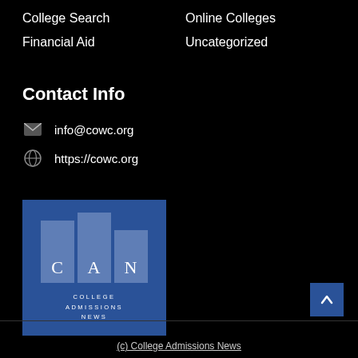College Search
Financial Aid
Online Colleges
Uncategorized
Contact Info
info@cowc.org
https://cowc.org
[Figure (logo): CAN College Admissions News logo — blue square background with three vertical rectangular columns in lighter blue bearing the letters C, A, N and below them the text COLLEGE ADMISSIONS NEWS in spaced uppercase letters]
(c) College Admissions News